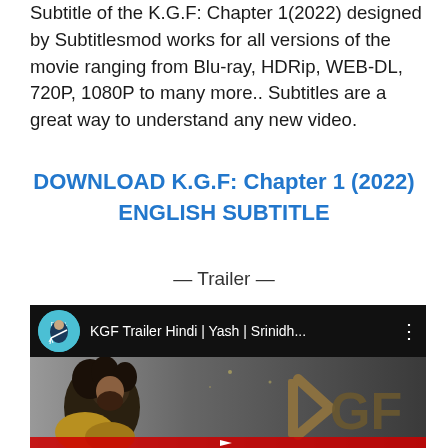Subtitle of the K.G.F: Chapter 1(2022) designed by Subtitlesmod works for all versions of the movie ranging from Blu-ray, HDRip, WEB-DL, 720P, 1080P to many more.. Subtitles are a great way to understand any new video.
DOWNLOAD K.G.F: Chapter 1 (2022) ENGLISH SUBTITLE
— Trailer —
[Figure (screenshot): YouTube video embed showing KGF Trailer Hindi | Yash | Srinidh... with Excel Movies channel icon, and thumbnail showing a man with long hair and KGF logo text]